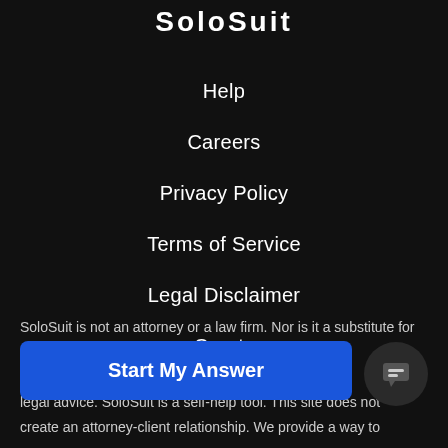SoloSuit
Help
Careers
Privacy Policy
Terms of Service
Legal Disclaimer
Courts
SoloSuit is not an attorney or a law firm. Nor is it a substitute for not provide legal advice. contains legal information legal advice. SoloSuit is a self-help tool. This site does not create an attorney-client relationship. We provide a way to
Start My Answer